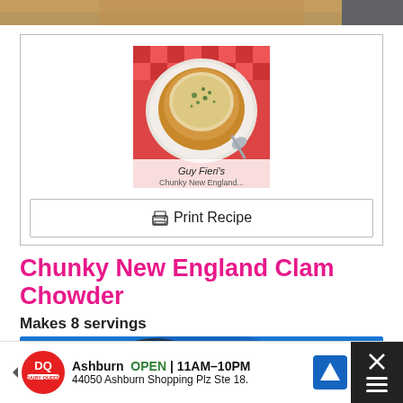[Figure (photo): Cropped top strip of a food image, partial view]
[Figure (photo): Clam chowder served in a bread bowl on a red checkered cloth with a spoon, with overlay text 'Guy Fieri's Chunky New England Clam Chowder']
Print Recipe
Chunky New England Clam Chowder
Makes 8 servings
[Figure (photo): Partial blue-toned food/cooking photo at bottom]
[Figure (other): Dairy Queen advertisement bar: Ashburn OPEN 11AM-10PM, 44050 Ashburn Shopping Plz Ste 18, with DQ logo, left arrow, navigation icon, and close X button]